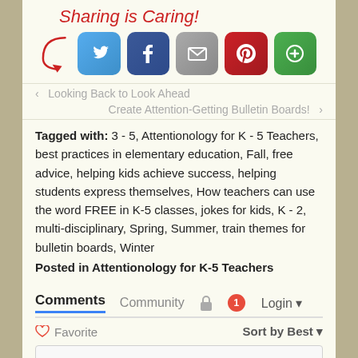[Figure (screenshot): Sharing is Caring! header with social media share buttons: Twitter (blue bird), Facebook (blue f), Email (grey envelope), Pinterest (red P), and another share button (green)]
‹ Looking Back to Look Ahead
Create Attention-Getting Bulletin Boards! ›
Tagged with: 3 - 5, Attentionology for K - 5 Teachers, best practices in elementary education, Fall, free advice, helping kids achieve success, helping students express themselves, How teachers can use the word FREE in K-5 classes, jokes for kids, K - 2, multi-disciplinary, Spring, Summer, train themes for bulletin boards, Winter
Posted in Attentionology for K-5 Teachers
Comments  Community  🔒  1  Login ▾
♡ Favorite   Sort by Best ▾
Start the discussion...